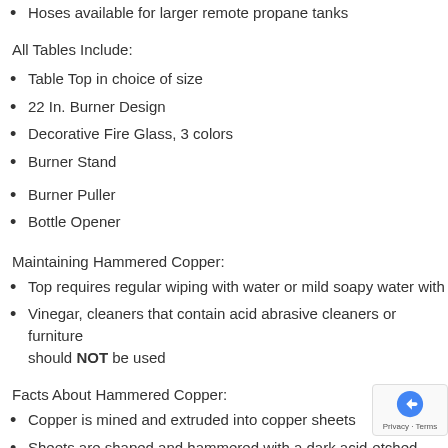Hoses available for larger remote propane tanks
All Tables Include:
Table Top in choice of size
22 In. Burner Design
Decorative Fire Glass, 3 colors
Burner Stand
Burner Puller
Bottle Opener
Maintaining Hammered Copper:
Top requires regular wiping with water or mild soapy water with
Vinegar, cleaners that contain acid abrasive cleaners or furniture should NOT be used
Facts About Hammered Copper:
Copper is mined and extruded into copper sheets
Sheets are shaped and hammered with a dark acid-etched finish
Tops can be formed onto outdoor substrates
18 gauge copper is used
Special finish is applied to maintain patina